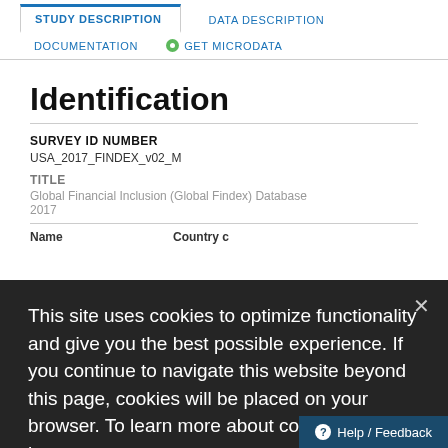STUDY DESCRIPTION | DATA DESCRIPTION | DOCUMENTATION | GET MICRODATA
Identification
SURVEY ID NUMBER
USA_2017_FINDEX_v02_M
TITLE
Global Financial Inclusion (Global Findex) Database 2017
| Name | Country c... |
| --- | --- |
This site uses cookies to optimize functionality and give you the best possible experience. If you continue to navigate this website beyond this page, cookies will be placed on your browser. To learn more about cookies, click here.